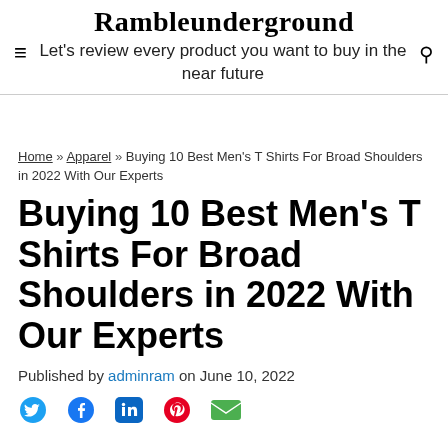Rambleunderground
Let's review every product you want to buy in the near future
Home » Apparel » Buying 10 Best Men's T Shirts For Broad Shoulders in 2022 With Our Experts
Buying 10 Best Men's T Shirts For Broad Shoulders in 2022 With Our Experts
Published by adminram on June 10, 2022
[Figure (other): Social share icons: Twitter (blue bird), Facebook (blue f), LinkedIn (blue in), Pinterest (red P), Email (green envelope)]